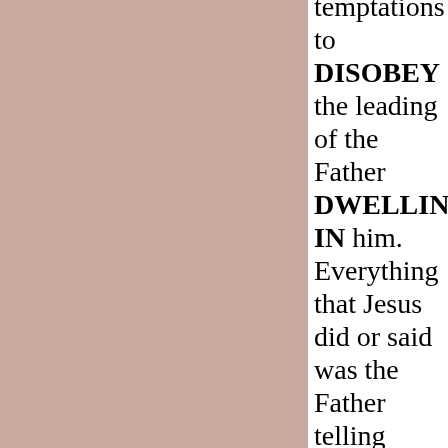[Figure (illustration): Large pink/mauve colored rectangle occupying the left two-thirds of the page]
temptations to DISOBEY the leading of the Father DWELLING IN him. Everything that Jesus did or said was the Father telling Jesus what to do and